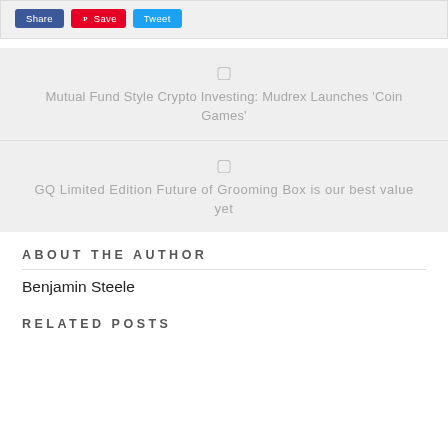[Figure (screenshot): Social share buttons: Facebook share button (blue), Pinterest Save button (red), Twitter Tweet button (blue)]
Mutual Fund Style Crypto Investing: Mudrex Launches 'Coin Games'
GQ Limited Edition Future of Grooming Box is our best value yet
ABOUT THE AUTHOR
Benjamin Steele
RELATED POSTS